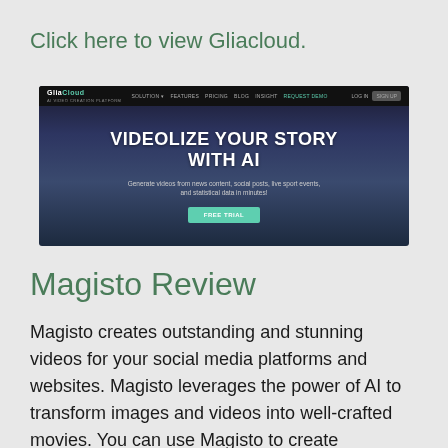Click here to view Gliacloud.
[Figure (screenshot): GliaCloud website screenshot showing the hero banner with text 'VIDEOLIZE YOUR STORY WITH AI' and subtitle 'Generate videos from news content, social posts, live sport events, and statistical data in minutes!' with a teal FREE TRIAL button, on a dark blue background. Navigation bar at top shows GliaCloud logo with links: SOLUTION, FEATURES, PRICING, BLOG, INSIGHT, REQUEST DEMO, LOG IN, SIGN UP.]
Magisto Review
Magisto creates outstanding and stunning videos for your social media platforms and websites. Magisto leverages the power of AI to transform images and videos into well-crafted movies. You can use Magisto to create automated, entertaining and fun